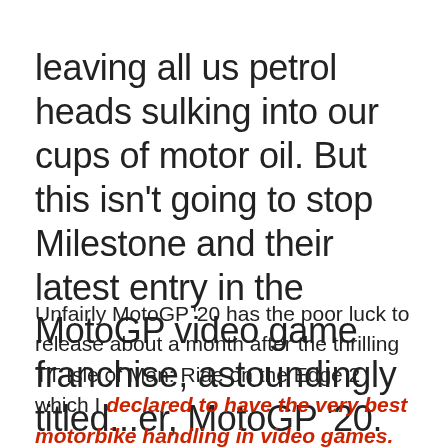leaving all us petrol heads sulking into our cups of motor oil. But this isn't going to stop Milestone and their latest entry in the MotoGP video game franchise, astoundingly titled...er, MotoGP '20. Clever.
Unfairly MotoGP '20 has the poor luck to release about a month after the thrilling TT Isle of Man: Ride on the Edge 2 which I declared to have the very best motorbike handling in video games. So I'm just going to come out right now and tell you that Ride on the Edge 2 is still the more exciting game, but that's a bit